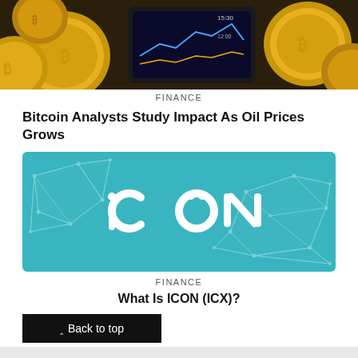[Figure (photo): Bitcoin gold coins and a smartphone showing price chart on dark background]
FINANCE
Bitcoin Analysts Study Impact As Oil Prices Grows
[Figure (logo): ICON (ICX) cryptocurrency logo on teal/cyan background with geometric network polygon design]
FINANCE
What Is ICON (ICX)?
^ Back to top